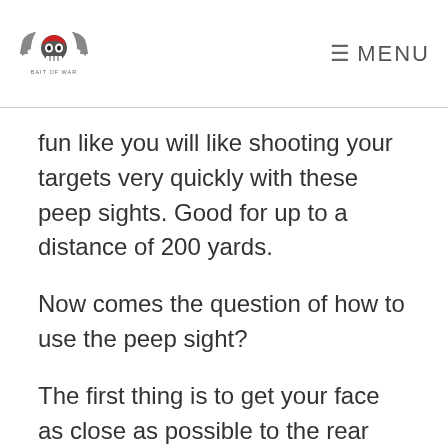MENU
fun like you will like shooting your targets very quickly with these peep sights. Good for up to a distance of 200 yards.
Now comes the question of how to use the peep sight?
The first thing is to get your face as close as possible to the rear sight peephole. New shooters generally do the mistake of holding their faces too far from the peep sight. It lowers accuracy.